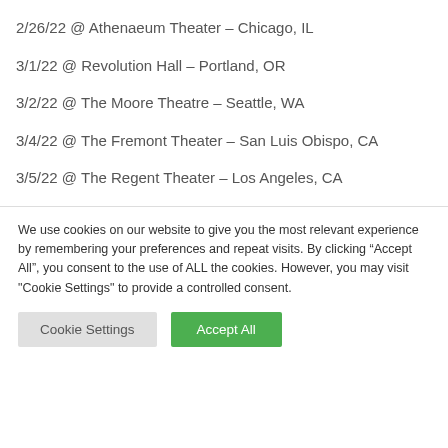2/26/22 @ Athenaeum Theater – Chicago, IL
3/1/22 @ Revolution Hall – Portland, OR
3/2/22 @ The Moore Theatre – Seattle, WA
3/4/22 @ The Fremont Theater – San Luis Obispo, CA
3/5/22 @ The Regent Theater – Los Angeles, CA
We use cookies on our website to give you the most relevant experience by remembering your preferences and repeat visits. By clicking “Accept All”, you consent to the use of ALL the cookies. However, you may visit "Cookie Settings" to provide a controlled consent.